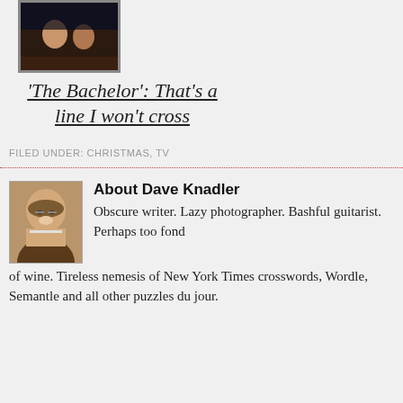[Figure (photo): Thumbnail photo from The Bachelor TV show, dark scene with figures]
'The Bachelor': That's a line I won't cross
FILED UNDER: CHRISTMAS, TV
[Figure (photo): Headshot photo of Dave Knadler, older man with glasses and white beard]
About Dave Knadler
Obscure writer. Lazy photographer. Bashful guitarist. Perhaps too fond of wine. Tireless nemesis of New York Times crosswords, Wordle, Semantle and all other puzzles du jour.